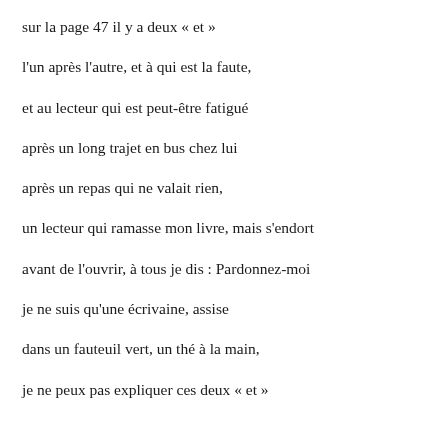sur la page 47 il y a deux « et »
l'un après l'autre, et à qui est la faute,
et au lecteur qui est peut-être fatigué
après un long trajet en bus chez lui
après un repas qui ne valait rien,
un lecteur qui ramasse mon livre, mais s'endort
avant de l'ouvrir, à tous je dis : Pardonnez-moi
je ne suis qu'une écrivaine, assise
dans un fauteuil vert, un thé à la main,
je ne peux pas expliquer ces deux « et »